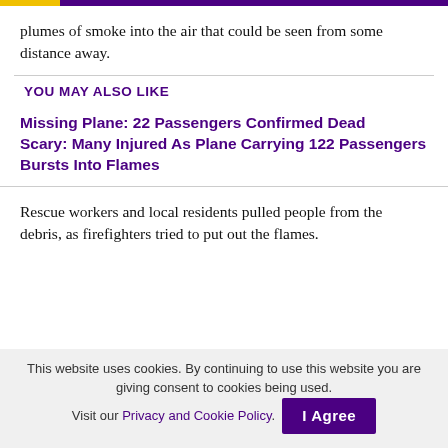plumes of smoke into the air that could be seen from some distance away.
YOU MAY ALSO LIKE
Missing Plane: 22 Passengers Confirmed Dead
Scary: Many Injured As Plane Carrying 122 Passengers Bursts Into Flames
Rescue workers and local residents pulled people from the debris, as firefighters tried to put out the flames.
This website uses cookies. By continuing to use this website you are giving consent to cookies being used. Visit our Privacy and Cookie Policy.